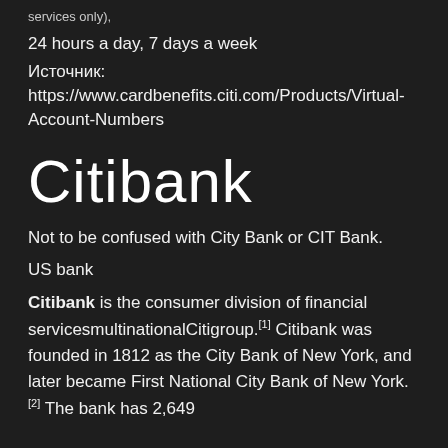services only),
24 hours a day, 7 days a week
Источник:
https://www.cardbenefits.citi.com/Products/Virtual-Account-Numbers
Citibank
Not to be confused with City Bank or CIT Bank.
US bank
Citibank is the consumer division of financial servicesmultinationalCitigroup.[1] Citibank was founded in 1812 as the City Bank of New York, and later became First National City Bank of New York.[2] The bank has 2,649